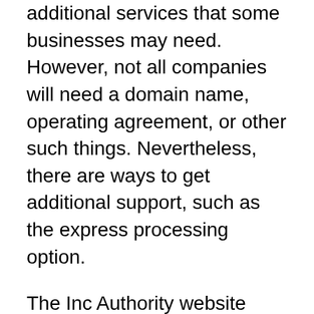additional services that some businesses may need. However, not all companies will need a domain name, operating agreement, or other such things. Nevertheless, there are ways to get additional support, such as the express processing option.
The Inc Authority website provides many services to make the process of forming a company simple and fast. They offer customer support and business information. All documents that are vital to a business's legal status will be delivered and stored for free. You will have to remit taxes to the government and have an Employer Identification Number (EIN).
Inc Authority offers a business credit analysis that...